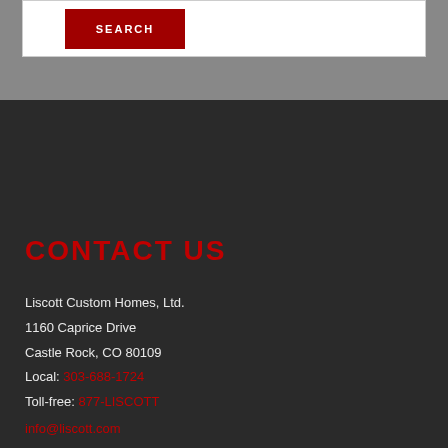[Figure (other): Red SEARCH button on white background with grey surrounding area]
CONTACT US
Liscott Custom Homes, Ltd.
1160 Caprice Drive
Castle Rock, CO 80109
Local: 303-688-1724
Toll-free: 877-LISCOTT
info@liscott.com
[Figure (other): Social media icons: email envelope, Facebook f, LinkedIn in, Twitter bird]